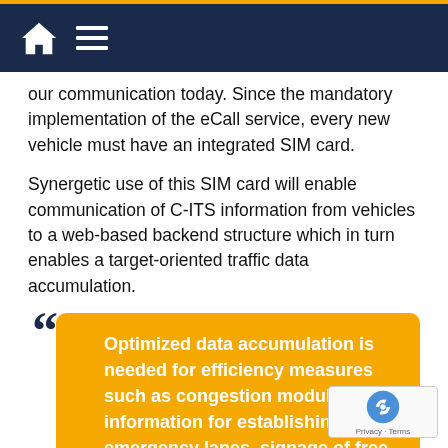Navigation bar with home icon and menu icon
our communication today. Since the mandatory implementation of the eCall service, every new vehicle must have an integrated SIM card.
Synergetic use of this SIM card will enable communication of C-ITS information from vehicles to a web-based backend structure which in turn enables a target-oriented traffic data accumulation.
Optimized data accumulation is needed for efficiency measures such as congestion modulation, information for establishing emergency lanes, signage of free parking spaces etc.
In addition, there is direct communication between vehicles, which does not need network coverage. T… LTE-V standard for high-speed wireless allows vehicle-